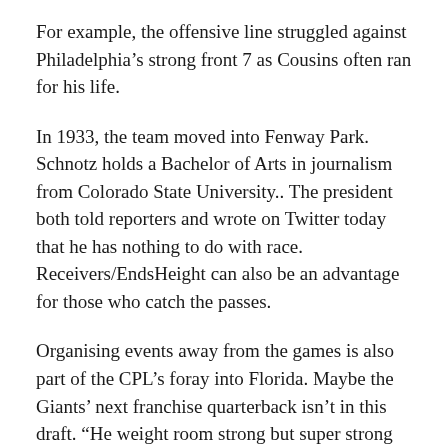For example, the offensive line struggled against Philadelphia’s strong front 7 as Cousins often ran for his life.
In 1933, the team moved into Fenway Park. Schnotz holds a Bachelor of Arts in journalism from Colorado State University.. The president both told reporters and wrote on Twitter today that he has nothing to do with race. Receivers/EndsHeight can also be an advantage for those who catch the passes.
Organising events away from the games is also part of the CPL’s foray into Florida. Maybe the Giants’ next franchise quarterback isn’t in this draft. “He weight room strong but super strong in games, a lower body with insane amounts of pop,” says Steve Saunders of Power Train Sports, Harrison fitness guru in Pittsburgh.
We’re looking forward to this season.“Hawaii’s Rolovich